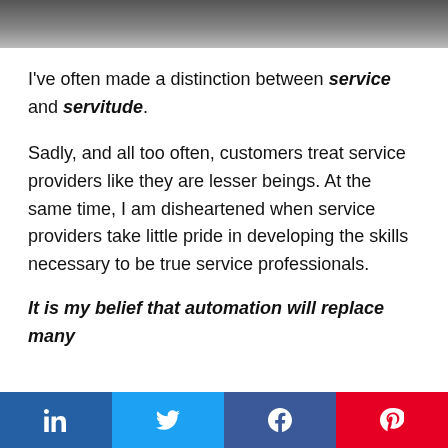[Figure (photo): Dark grayscale photo at top of page, partially visible]
I've often made a distinction between service and servitude.
Sadly, and all too often, customers treat service providers like they are lesser beings. At the same time, I am disheartened when service providers take little pride in developing the skills necessary to be true service professionals.
It is my belief that automation will replace many service providers who are not appropriately...
Share buttons: LinkedIn, Twitter, Facebook, Pinterest